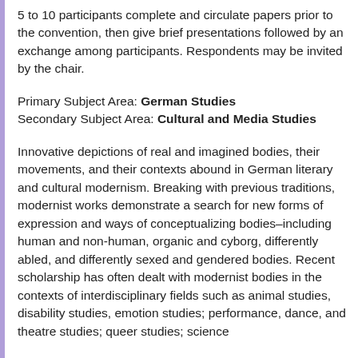5 to 10 participants complete and circulate papers prior to the convention, then give brief presentations followed by an exchange among participants. Respondents may be invited by the chair.
Primary Subject Area: German Studies Secondary Subject Area: Cultural and Media Studies
Innovative depictions of real and imagined bodies, their movements, and their contexts abound in German literary and cultural modernism. Breaking with previous traditions, modernist works demonstrate a search for new forms of expression and ways of conceptualizing bodies–including human and non-human, organic and cyborg, differently abled, and differently sexed and gendered bodies. Recent scholarship has often dealt with modernist bodies in the contexts of interdisciplinary fields such as animal studies, disability studies, emotion studies; performance, dance, and theatre studies; queer studies; science